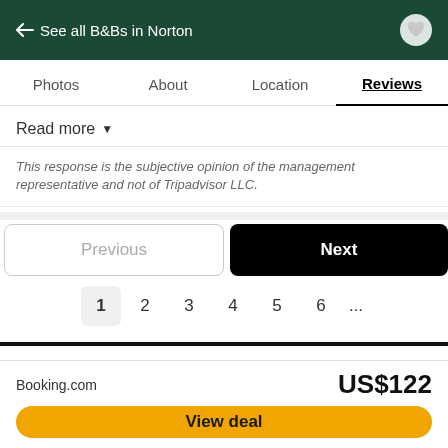← See all B&Bs in Norton
Photos  About  Location  Reviews
Read more ▼
This response is the subjective opinion of the management representative and not of Tripadvisor LLC.
Previous   Next
1  2  3  4  5  6  ...
Not the right property for you?
There are more places to choose from in the Norton area.
Booking.com   US$122
View deal